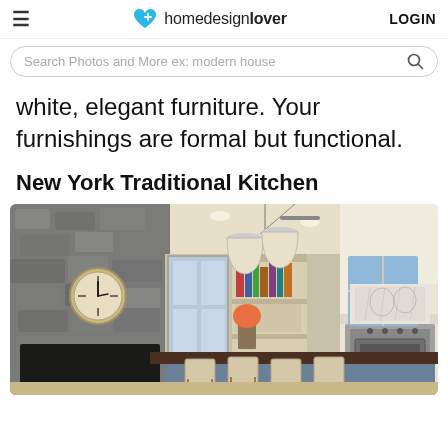homedesignlover  LOGIN
Search Photos and More ex: modern house
white, elegant furniture. Your furnishings are formal but functional.
New York Traditional Kitchen
[Figure (photo): New York traditional kitchen interior with stone fireplace, large wall clock, pendant lights over a dark wood island with bistro chairs, open shelving, and a professional stainless steel range with white hood.]